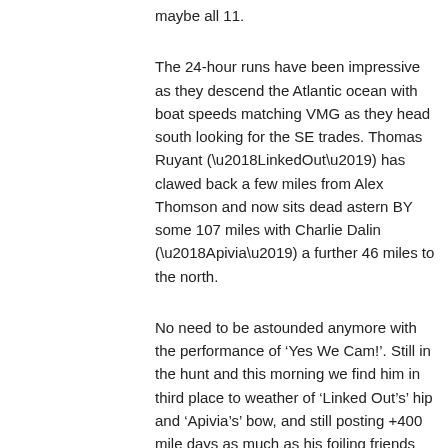maybe all 11.
The 24-hour runs have been impressive as they descend the Atlantic ocean with boat speeds matching VMG as they head south looking for the SE trades. Thomas Ruyant (‘LinkedOut’) has clawed back a few miles from Alex Thomson and now sits dead astern BY some 107 miles with Charlie Dalin (‘Apivia’) a further 46 miles to the north.
No need to be astounded anymore with the performance of ‘Yes We Cam!’. Still in the hunt and this morning we find him in third place to weather of ‘Linked Out’s’ hip and ‘Apivia’s’ bow, and still posting +400 mile days as much as his foiling friends ahead and astern.
Looking back up the Atlantic, you have to feel for the 12 back markers who